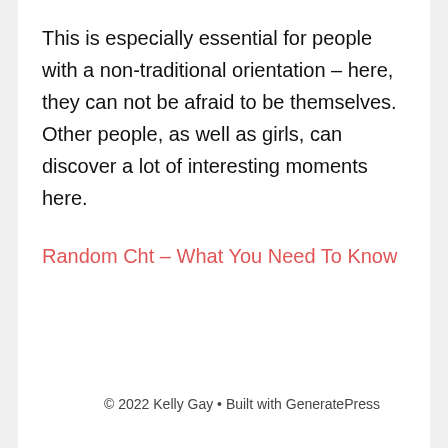This is especially essential for people with a non-traditional orientation – here, they can not be afraid to be themselves. Other people, as well as girls, can discover a lot of interesting moments here.
Random Cht – What You Need To Know
© 2022 Kelly Gay • Built with GeneratePress